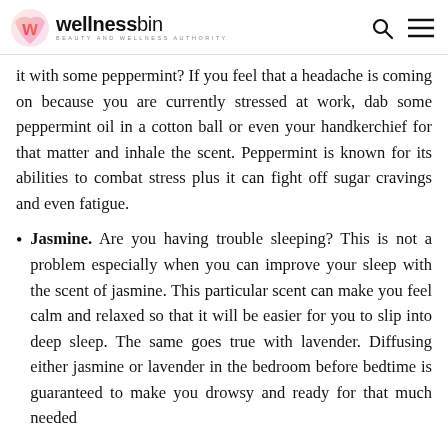wellnessbin — BEAUTY AND WELLNESS AUTHORITY
it with some peppermint? If you feel that a headache is coming on because you are currently stressed at work, dab some peppermint oil in a cotton ball or even your handkerchief for that matter and inhale the scent. Peppermint is known for its abilities to combat stress plus it can fight off sugar cravings and even fatigue.
Jasmine. Are you having trouble sleeping? This is not a problem especially when you can improve your sleep with the scent of jasmine. This particular scent can make you feel calm and relaxed so that it will be easier for you to slip into deep sleep. The same goes true with lavender. Diffusing either jasmine or lavender in the bedroom before bedtime is guaranteed to make you drowsy and ready for that much needed